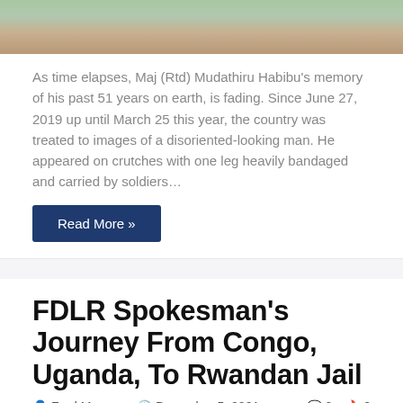[Figure (photo): Top portion of a photo showing a person in a green garment, cropped]
As time elapses, Maj (Rtd) Mudathiru Habibu's memory of his past 51 years on earth, is fading. Since June 27, 2019 up until March 25 this year, the country was treated to images of a disoriented-looking man. He appeared on crutches with one leg heavily bandaged and carried by soldiers…
Read More »
FDLR Spokesman's Journey From Congo, Uganda, To Rwandan Jail
Fred Mwasa   December 5, 2021   0   0
[Figure (photo): Bottom portion showing a close-up of a person's face, partially cropped]